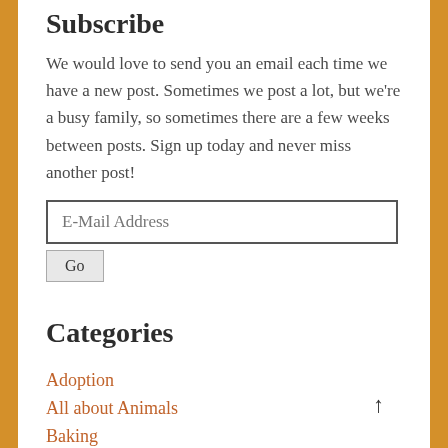Subscribe
We would love to send you an email each time we have a new post. Sometimes we post a lot, but we're a busy family, so sometimes there are a few weeks between posts. Sign up today and never miss another post!
Categories
Adoption
All about Animals
Baking